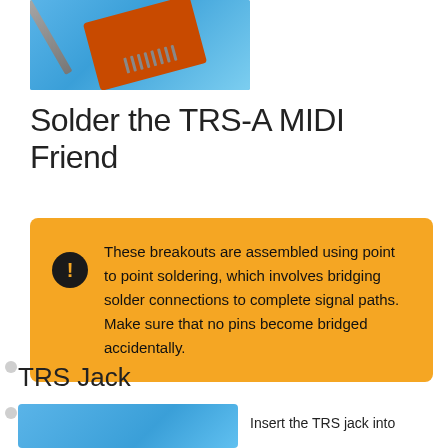[Figure (photo): A soldering iron held above an orange PCB circuit board with header pins, against a blue background]
Solder the TRS-A MIDI Friend
These breakouts are assembled using point to point soldering, which involves bridging solder connections to complete signal paths. Make sure that no pins become bridged accidentally.
TRS Jack
[Figure (photo): A blue image showing a TRS jack component]
Insert the TRS jack into